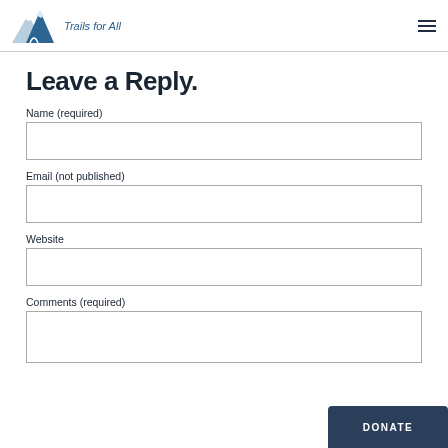Trails for All
Leave a Reply.
Name (required)
Email (not published)
Website
Comments (required)